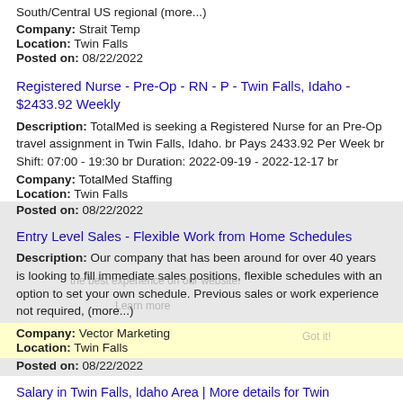South/Central US regional (more...)
Company: Strait Temp
Location: Twin Falls
Posted on: 08/22/2022
Registered Nurse - Pre-Op - RN - P - Twin Falls, Idaho - $2433.92 Weekly
Description: TotalMed is seeking a Registered Nurse for an Pre-Op travel assignment in Twin Falls, Idaho. br Pays 2433.92 Per Week br Shift: 07:00 - 19:30 br Duration: 2022-09-19 - 2022-12-17 br
Company: TotalMed Staffing
Location: Twin Falls
Posted on: 08/22/2022
Entry Level Sales - Flexible Work from Home Schedules
Description: Our company that has been around for over 40 years is looking to fill immediate sales positions, flexible schedules with an option to set your own schedule. Previous sales or work experience not required, (more...)
Company: Vector Marketing
Location: Twin Falls
Posted on: 08/22/2022
Salary in Twin Falls, Idaho Area | More details for Twin